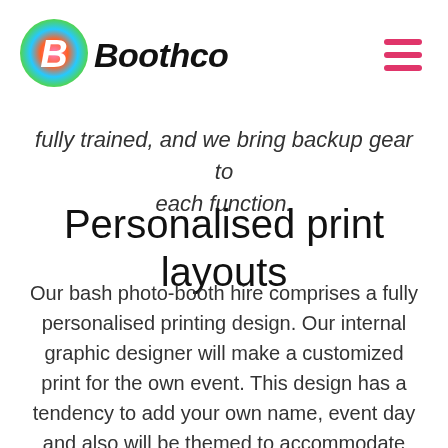Boothco
fully trained, and we bring backup gear to each function.
Personalised print layouts
Our bash photo-booth hire comprises a fully personalised printing design. Our internal graphic designer will make a customized print for the own event. This design has a tendency to add your own name, event day and also will be themed to accommodate the occasion. Usually we provide 4 by 6" prints or dual strip prints although other